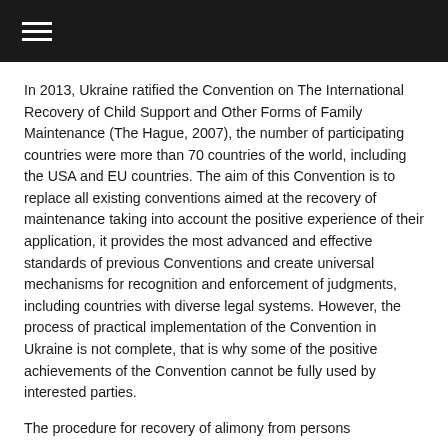[hamburger menu icon]
In 2013, Ukraine ratified the Convention on The International Recovery of Child Support and Other Forms of Family Maintenance (The Hague, 2007), the number of participating countries were more than 70 countries of the world, including the USA and EU countries. The aim of this Convention is to replace all existing conventions aimed at the recovery of maintenance taking into account the positive experience of their application, it provides the most advanced and effective standards of previous Conventions and create universal mechanisms for recognition and enforcement of judgments, including countries with diverse legal systems. However, the process of practical implementation of the Convention in Ukraine is not complete, that is why some of the positive achievements of the Convention cannot be fully used by interested parties.
The procedure for recovery of alimony from persons